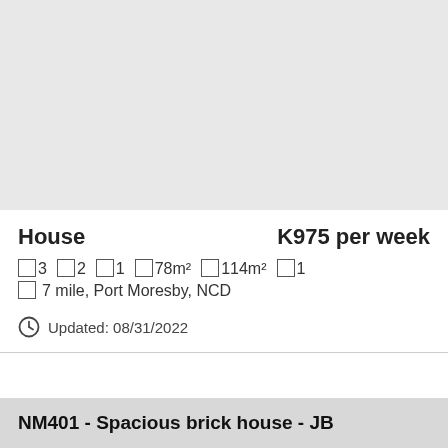[Figure (photo): Light gray placeholder image area representing a property photo]
House    K975 per week
□ 3  □ 2  □ 1  □ 78m²  □ 114m²  □ 1
□ 7 mile, Port Moresby, NCD
Updated: 08/31/2022
NM401 - Spacious brick house - JB